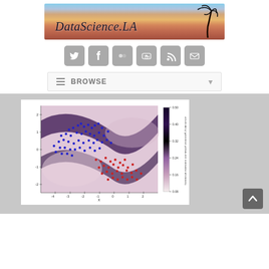[Figure (logo): DataScience.LA website logo banner with sunset/palm tree background]
[Figure (illustration): Row of social media icons: Twitter, Facebook, Flickr, YouTube, RSS, Email — all in gray rounded square style]
[Figure (screenshot): BROWSE navigation bar with hamburger menu icon and dropdown arrow]
[Figure (continuous-plot): Scatter plot with background heatmap showing uncertainty/posterior predictive standard deviation. Blue dots cluster in upper-left curved band, red dots cluster in lower-right area. Color bar on right shows values from ~0.08 (light) to ~0.50 (dark). X-axis labeled 'x', y-axis unlabeled with values from about -3 to 2.]
[Figure (illustration): Back-to-top button: gray rounded square with white upward chevron/arrow]